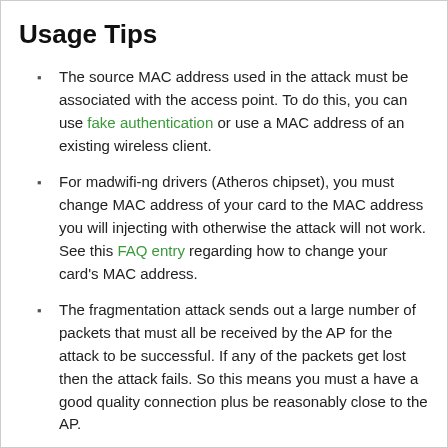Usage Tips
The source MAC address used in the attack must be associated with the access point. To do this, you can use fake authentication or use a MAC address of an existing wireless client.
For madwifi-ng drivers (Atheros chipset), you must change MAC address of your card to the MAC address you will injecting with otherwise the attack will not work. See this FAQ entry regarding how to change your card's MAC address.
The fragmentation attack sends out a large number of packets that must all be received by the AP for the attack to be successful. If any of the packets get lost then the attack fails. So this means you must a have a good quality connection plus be reasonably close to the AP.